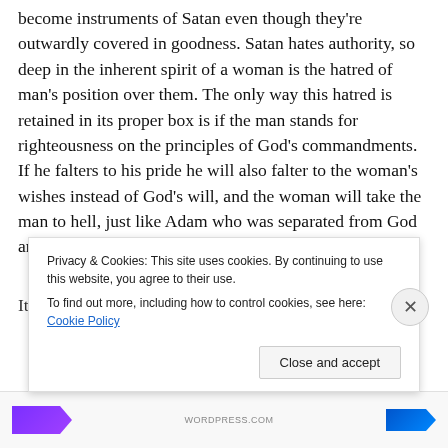become instruments of Satan even though they're outwardly covered in goodness. Satan hates authority, so deep in the inherent spirit of a woman is the hatred of man's position over them. The only way this hatred is retained in its proper box is if the man stands for righteousness on the principles of God's commandments. If he falters to his pride he will also falter to the woman's wishes instead of God's will, and the woman will take the man to hell, just like Adam who was separated from God and the Garden.
It was the spirit behind Jezebel that tied ...
Privacy & Cookies: This site uses cookies. By continuing to use this website, you agree to their use.
To find out more, including how to control cookies, see here: Cookie Policy